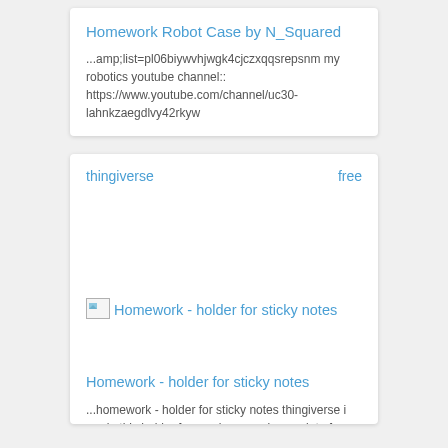Homework Robot Case by N_Squared
...amp;list=pl06biywvhjwgk4cjczxqqsrepsnm my robotics youtube channel:: https://www.youtube.com/channel/uc30-lahnkzaegdlvy42rkyw
thingiverse    free
[Figure (photo): Broken image placeholder for Homework - holder for sticky notes]
Homework - holder for sticky notes
...homework - holder for sticky notes thingiverse i made this holder for me, because i use a lot of sticky notes.